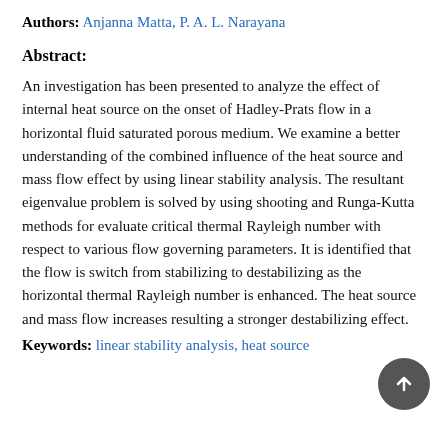Authors: Anjanna Matta, P. A. L. Narayana
Abstract:
An investigation has been presented to analyze the effect of internal heat source on the onset of Hadley-Prats flow in a horizontal fluid saturated porous medium. We examine a better understanding of the combined influence of the heat source and mass flow effect by using linear stability analysis. The resultant eigenvalue problem is solved by using shooting and Runga-Kutta methods for evaluate critical thermal Rayleigh number with respect to various flow governing parameters. It is identified that the flow is switch from stabilizing to destabilizing as the horizontal thermal Rayleigh number is enhanced. The heat source and mass flow increases resulting a stronger destabilizing effect.
Keywords: linear stability analysis, heat source